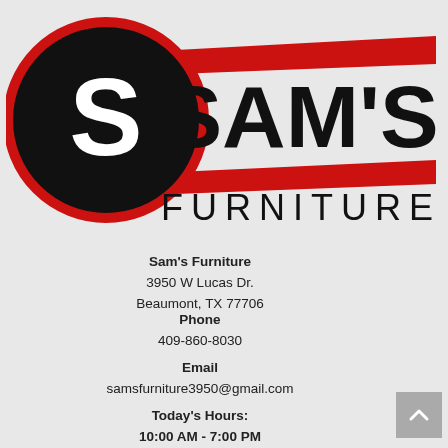[Figure (logo): Sam's Furniture logo with a black circle containing a white S on a red background, with red speed lines and SAM'S text in bold black, FURNITURE below in smaller spaced black text]
Sam's Furniture
3950 W Lucas Dr.
Beaumont, TX 77706
Phone
409-860-8030
Email
samsfurniture3950@gmail.com
Today's Hours:
10:00 AM - 7:00 PM